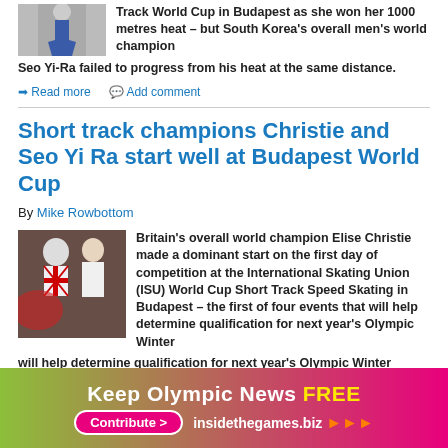[Figure (photo): Partial photo of a figure skater in blue skirt, cropped at top]
Track World Cup in Budapest as she won her 1000 metres heat – but South Korea's overall men's world champion Seo Yi-Ra failed to progress from his heat at the same distance.
➔ Read more   💬 Add comment
Short track champions Christie and Seo Yi Ra start well at Budapest World Cup
By Mike Rowbottom
[Figure (photo): Photo of Elise Christie and another skater at a competition, Christie wearing Union Jack outfit]
Britain's overall world champion Elise Christie made a dominant start on the first day of competition at the International Skating Union (ISU) World Cup Short Track Speed Skating in Budapest – the first of four events that will help determine qualification for next year's Olympic Winter
Keep Olympic News FREE   Contribute > insidethegames.biz ▶▶▶